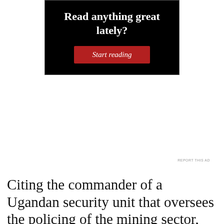[Figure (screenshot): Advertisement banner with black background reading 'Read anything great lately?' with a red 'Start reading' button]
REPORT THIS AD
Citing the commander of a Ugandan security unit that oversees the policing of the mining sector, state-run daily New Vision reported on
Privacy & Cookies: This site uses cookies. By continuing to use this website, you agree to their use.
To find out more, including how to control cookies, see here:
Cookie Policy
Close and accept
definitively say whether it had originated